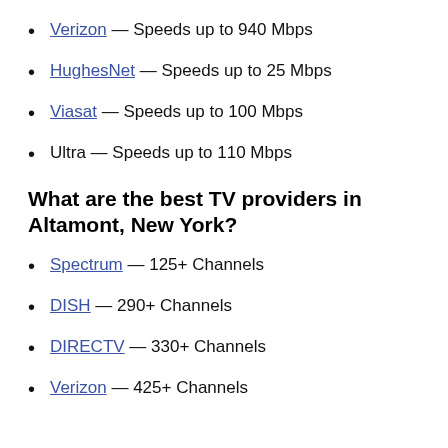Verizon — Speeds up to 940 Mbps
HughesNet — Speeds up to 25 Mbps
Viasat — Speeds up to 100 Mbps
Ultra — Speeds up to 110 Mbps
What are the best TV providers in Altamont, New York?
Spectrum — 125+ Channels
DISH — 290+ Channels
DIRECTV — 330+ Channels
Verizon — 425+ Channels